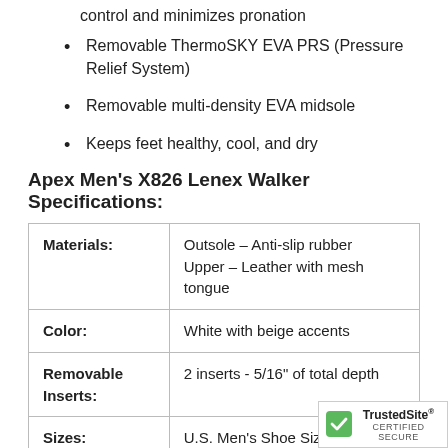control and minimizes pronation
Removable ThermoSKY EVA PRS (Pressure Relief System)
Removable multi-density EVA midsole
Keeps feet healthy, cool, and dry
Apex Men's X826 Lenex Walker Specifications:
|  |  |
| --- | --- |
| Materials: | Outsole – Anti-slip rubber
Upper – Leather with mesh tongue |
| Color: | White with beige accents |
| Removable Inserts: | 2 inserts - 5/16" of total depth |
| Sizes: | U.S. Men's Shoe Siz... |